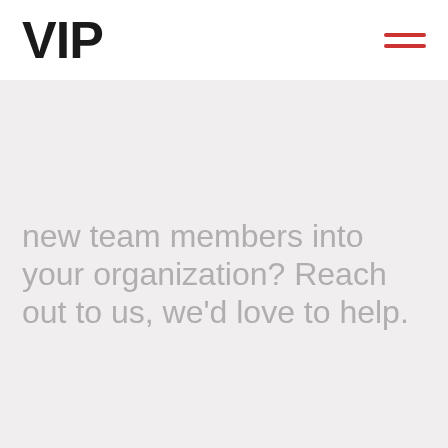VIP
new team members into your organization? Reach out to us, we'd love to help.